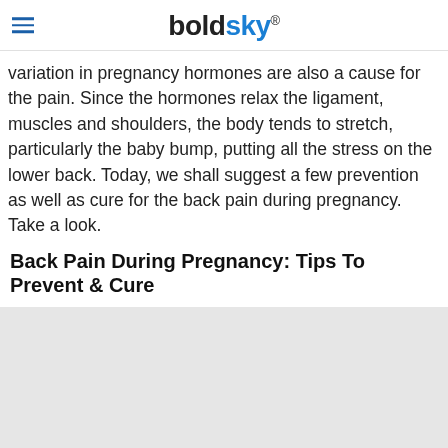boldsky
variation in pregnancy hormones are also a cause for the pain. Since the hormones relax the ligament, muscles and shoulders, the body tends to stretch, particularly the baby bump, putting all the stress on the lower back. Today, we shall suggest a few prevention as well as cure for the back pain during pregnancy. Take a look.
Back Pain During Pregnancy: Tips To Prevent & Cure
[Figure (photo): Large gray placeholder image area for an article about back pain during pregnancy]